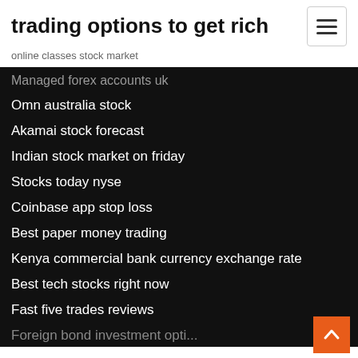trading options to get rich
online classes stock market
Managed forex accounts uk
Omn australia stock
Akamai stock forecast
Indian stock market on friday
Stocks today nyse
Coinbase app stop loss
Best paper money trading
Kenya commercial bank currency exchange rate
Best tech stocks right now
Fast five trades reviews
Foreign bond investment options